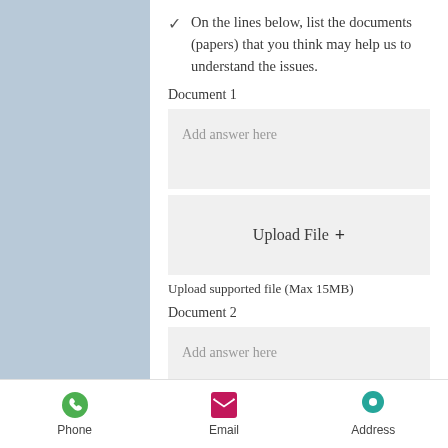On the lines below, list the documents (papers) that you think may help us to understand the issues.
Document 1
Add answer here
Upload File +
Upload supported file (Max 15MB)
Document 2
Add answer here
Upload File +
Phone  Email  Address